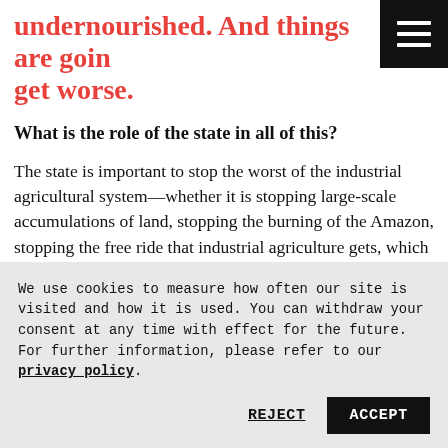undernourished. And things are going to get worse.
What is the role of the state in all of this?
The state is important to stop the worst of the industrial agricultural system—whether it is stopping large-scale accumulations of land, stopping the burning of the Amazon, stopping the free ride that industrial agriculture gets, which is not only draining public funds but actively making everyone's life worse. Why are we subsidising the most profitable corporations with the
We use cookies to measure how often our site is visited and how it is used. You can withdraw your consent at any time with effect for the future. For further information, please refer to our privacy policy.